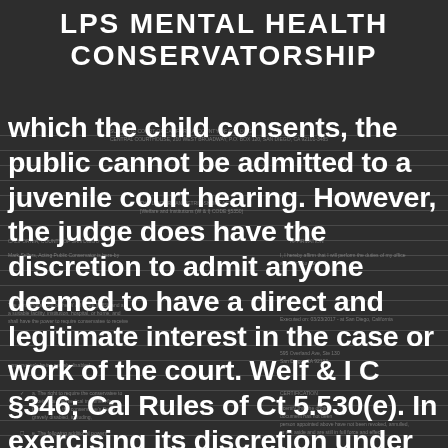LPS MENTAL HEALTH CONSERVATORSHIP
which the child consents, the public cannot be admitted to a juvenile court hearing. However, the judge does have the discretion to admit anyone deemed to have a direct and legitimate interest in the case or work of the court. Welf & I C §346; Cal Rules of Ct 5.530(e). In exercising its discretion under Welf & I C §346, the court should consider the child's best interests and "the important social values which are fostered by